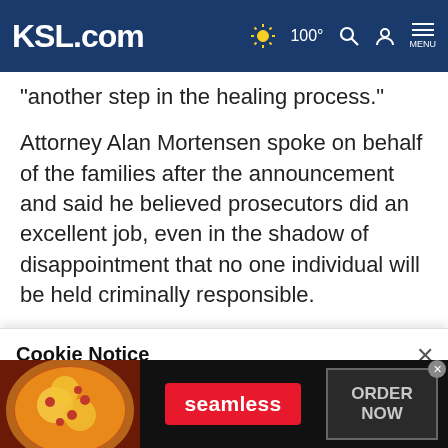KSL.com  ☀ 100°  🔍  👤  MENU
"another step in the healing process."
Attorney Alan Mortensen spoke on behalf of the families after the announcement and said he believed prosecutors did an excellent job, even in the shadow of disappointment that no one individual will be held criminally responsible.
"I believe there will be mixed reactions," he said, adding that
Cookie Notice
We use cookies to improve your experience, analyze site traffic, and to personalize content and ads. By continuing to use our site, you consent to our use of cookies. Please visit our Terms of Use and  Privacy Policy for more information.
[Figure (screenshot): Seamless food delivery advertisement banner with pizza image, red Seamless button, and ORDER NOW call-to-action]